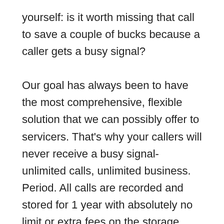yourself: is it worth missing that call to save a couple of bucks because a caller gets a busy signal?
Our goal has always been to have the most comprehensive, flexible solution that we can possibly offer to servicers. That's why your callers will never receive a busy signal- unlimited calls, unlimited business. Period. All calls are recorded and stored for 1 year with absolutely no limit or extra fees on the storage space. Additionally, there are no limits or charges on queues or extensions; we designed SCS Communications this way so that the system can grow with you as you add new technicians and expand your service area. Absolutely no charges for extra features